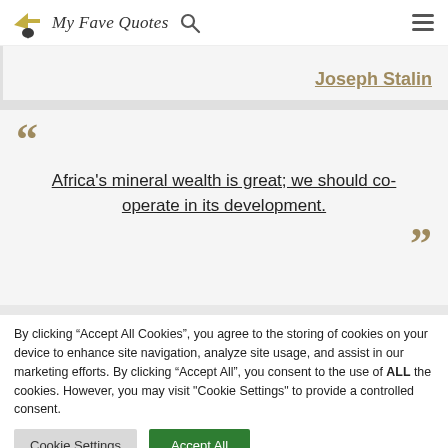My Fave Quotes
Joseph Stalin
Africa’s mineral wealth is great; we should co-operate in its development.
By clicking “Accept All Cookies”, you agree to the storing of cookies on your device to enhance site navigation, analyze site usage, and assist in our marketing efforts. By clicking “Accept All”, you consent to the use of ALL the cookies. However, you may visit "Cookie Settings" to provide a controlled consent.